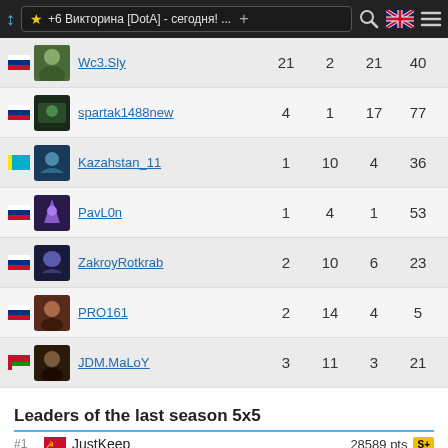+6 Викторина [DotA] - сегодня! ...
| Player | Col1 | Col2 | Col3 | Col4 |
| --- | --- | --- | --- | --- |
| Wc3.Sly | 21 | 2 | 21 | 40 |
| spartak1488new | 4 | 1 | 17 | 77 |
| Kazahstan_11 | 1 | 10 | 4 | 36 |
| PavL0n | 1 | 4 | 1 | 53 |
| ZakroyRotkrab | 2 | 10 | 6 | 23 |
| PRO161 | 2 | 14 | 4 | 5 |
| JDM.MaLoY | 3 | 11 | 3 | 21 |
Leaders of the last season 5x5
| Rank | Flag | Name | Points | Badge |
| --- | --- | --- | --- | --- |
| #1 | USSR | JustKeep | 28589 pts | S+ |
| #2 | Uzbekistan | Ot1ck | 26179 pts | S+ |
| #3 | Uzbekistan | WODOTA-by-AMAL | 25522 pts | S+ |